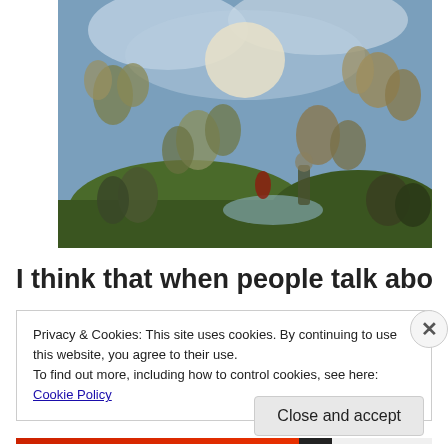[Figure (illustration): A detail of Michelangelo's 'The Last Judgment' fresco from the Sistine Chapel, showing figures ascending to heaven and falling into hell, with dramatic sky and landscapes.]
I think that when people talk about Heaven, they are really
Privacy & Cookies: This site uses cookies. By continuing to use this website, you agree to their use.
To find out more, including how to control cookies, see here: Cookie Policy